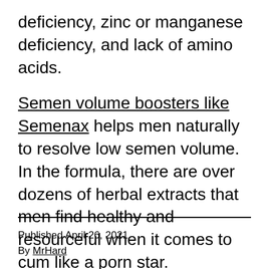deficiency, zinc or manganese deficiency, and lack of amino acids.
Semen volume boosters like Semenax helps men naturally to resolve low semen volume. In the formula, there are over dozens of herbal extracts that men find healthy and resourceful when it comes to cum like a porn star.
Published April 26, 2021
By MrHard